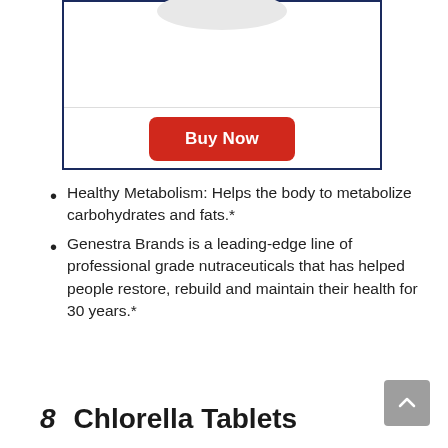[Figure (photo): Product image area showing a white pill/tablet shape at the top of a bordered box with a dark navy border]
Buy Now
Healthy Metabolism: Helps the body to metabolize carbohydrates and fats.*
Genestra Brands is a leading-edge line of professional grade nutraceuticals that has helped people restore, rebuild and maintain their health for 30 years.*
8  Chlorella Tablets